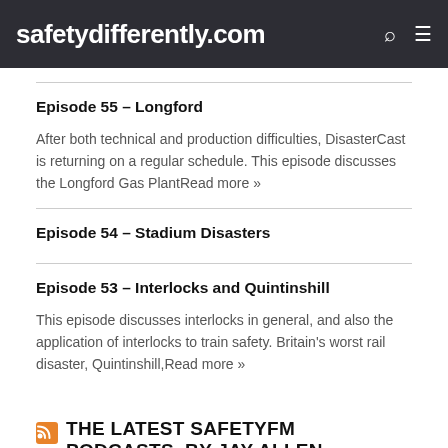safetydifferently.com
Episode 55 – Longford
After both technical and production difficulties, DisasterCast is returning on a regular schedule. This episode discusses the Longford Gas PlantRead more »
Episode 54 – Stadium Disasters
Episode 53 – Interlocks and Quintinshill
This episode discusses interlocks in general, and also the application of interlocks to train safety. Britain's worst rail disaster, Quintinshill,Read more »
THE LATEST SAFETYFM PODCASTS, BY JAY ALLEN